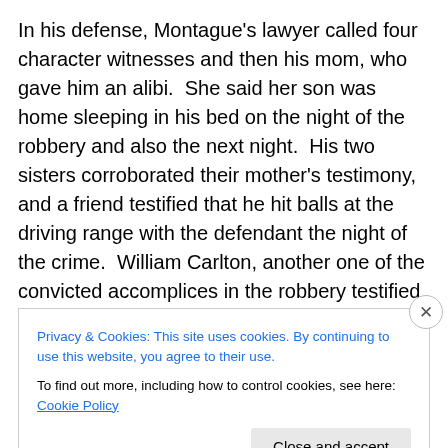In his defense, Montague's lawyer called four character witnesses and then his mom, who gave him an alibi. She said her son was home sleeping in his bed on the night of the robbery and also the next night. His two sisters corroborated their mother's testimony, and a friend testified that he hit balls at the driving range with the defendant the night of the crime. William Carlton, another one of the convicted accomplices in the robbery testified that Montague wasn't the fourth partner and explained that his stuff was in the trunk of the car because they had taken a trip together and were planning another one. And
Privacy & Cookies: This site uses cookies. By continuing to use this website, you agree to their use. To find out more, including how to control cookies, see here: Cookie Policy
Close and accept